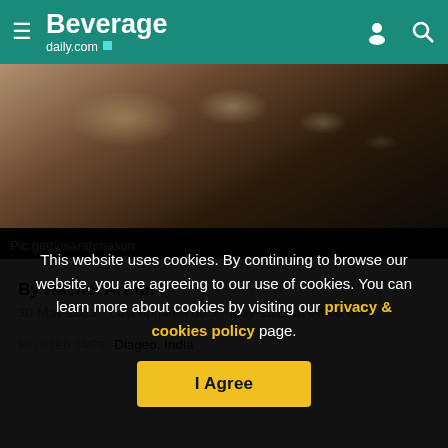Beverage daily.com
[Figure (photo): Bar scene with hanging glasses and bottles, dark ambient lighting]
Pic:getty/sarahmason
By Rachel Arthur
30-May-2022 - Last updated on 30-May-2022 at 09:46 GMT
RELATED TAGS: Diageo, India
This website uses cookies. By continuing to browse our website, you are agreeing to our use of cookies. You can learn more about cookies by visiting our privacy & cookies policy page.